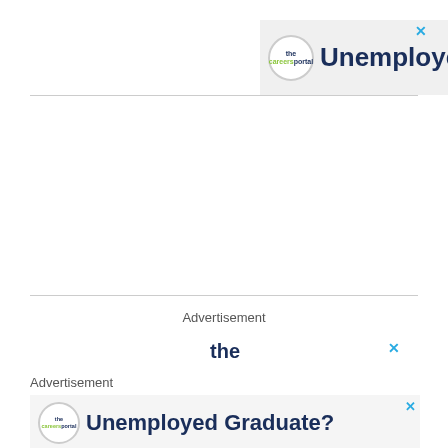[Figure (screenshot): Top advertisement banner for 'The Careers Portal' with text 'Unemployed Graduate?' in dark navy, on a light grey background with a close (X) button in cyan]
Advertisement
[Figure (screenshot): Partial bottom advertisement banner for 'The Careers Portal' with text 'the' visible and 'Unemployed Graduate?' below, with close (X) buttons in cyan and another 'Advertisement' label]